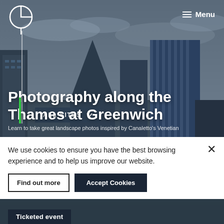[Figure (screenshot): Website screenshot showing a photography event page for 'Photography along the Thames at Greenwich' with a skyline hero image, navigation bar with logo and Menu button, ALL SITES dropdown, a cookie consent banner at the bottom, and a Ticketed event badge.]
Photography along the Thames at Greenwich
Learn to take great landscape photos inspired by Canaletto's Venetian
We use cookies to ensure you have the best browsing experience and to help us improve our website.
Find out more
Accept Cookies
Ticketed event